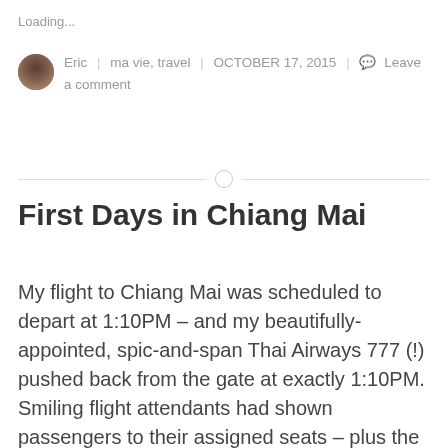Loading...
Eric | ma vie, travel | OCTOBER 17, 2015 | Leave a comment
First Days in Chiang Mai
My flight to Chiang Mai was scheduled to depart at 1:10PM – and my beautifully-appointed, spic-and-span Thai Airways 777 (!) pushed back from the gate at exactly 1:10PM. Smiling flight attendants had shown passengers to their assigned seats – plus the fl...